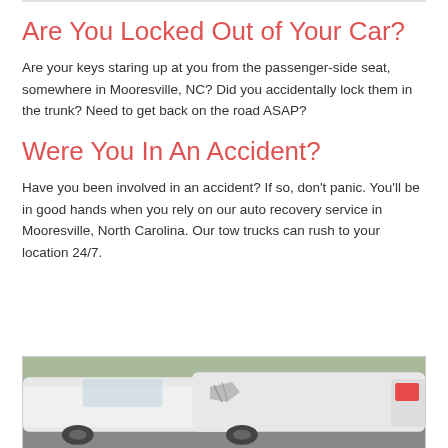Are You Locked Out of Your Car?
Are your keys staring up at you from the passenger-side seat, somewhere in Mooresville, NC? Did you accidentally lock them in the trunk? Need to get back on the road ASAP?
Were You In An Accident?
Have you been involved in an accident? If so, don't panic. You'll be in good hands when you rely on our auto recovery service in Mooresville, North Carolina. Our tow trucks can rush to your location 24/7.
[Figure (photo): Two white cars that have been in a rear-end collision, showing front damage on one car and rear damage on the other.]